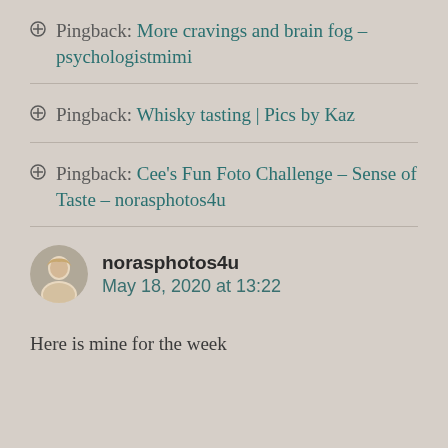Pingback: More cravings and brain fog – psychologistmimi
Pingback: Whisky tasting | Pics by Kaz
Pingback: Cee's Fun Foto Challenge – Sense of Taste – norasphotos4u
norasphotos4u
May 18, 2020 at 13:22
Here is mine for the week